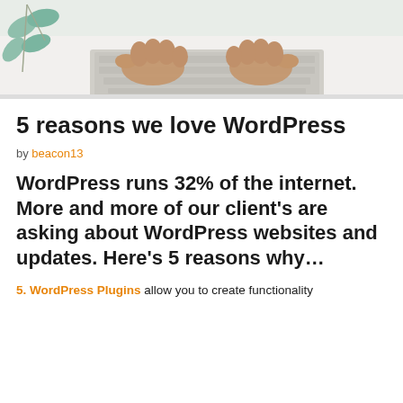[Figure (photo): Photo of hands typing on a laptop keyboard from above, with eucalyptus leaves visible in the top-left corner on a white surface.]
5 reasons we love WordPress
by beacon13
WordPress runs 32% of the internet. More and more of our client's are asking about WordPress websites and updates. Here's 5 reasons why…
5. WordPress Plugins allow you to create functionality